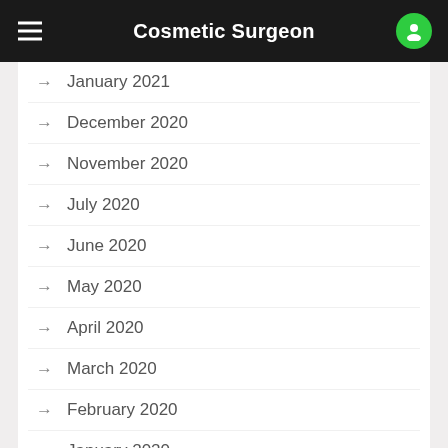Cosmetic Surgeon
January 2021
December 2020
November 2020
July 2020
June 2020
May 2020
April 2020
March 2020
February 2020
January 2020
December 2019
November 2019